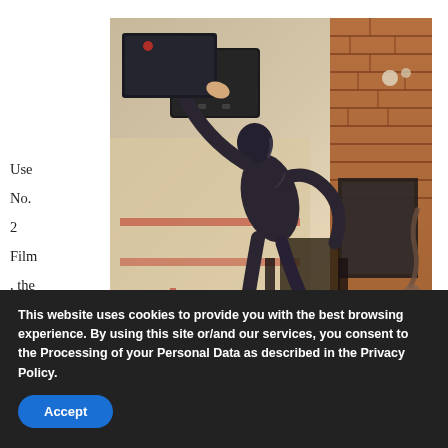[Figure (photo): A rotated/tilted photograph of a dark bronze/wax sculpture of a human figure holding or carrying a black box-like structure, displayed in an indoor setting with a patterned rug, wooden furniture, and brick wall visible in the background.]
Use No. 2 Film , the scul ptor'
Use No 2 Film, Wendy M. Johnson, 2016, wax
This website uses cookies to provide you with the best browsing experience. By using this site or/and our services, you consent to the Processing of your Personal Data as described in the Privacy Policy.
Accept